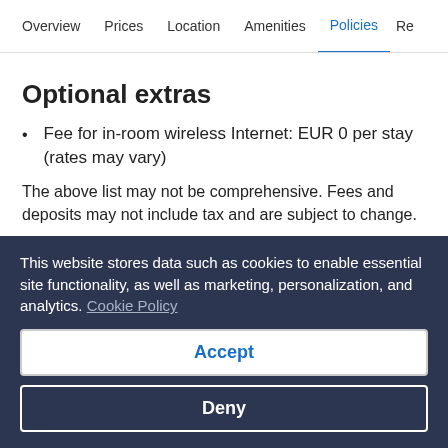Overview  Prices  Location  Amenities  Policies  Re
Optional extras
Fee for in-room wireless Internet: EUR 0 per stay (rates may vary)
The above list may not be comprehensive. Fees and deposits may not include tax and are subject to change.
You need to know
Extra person charges may apply and vary depending on property
This website stores data such as cookies to enable essential site functionality, as well as marketing, personalization, and analytics. Cookie Policy
Accept
Deny